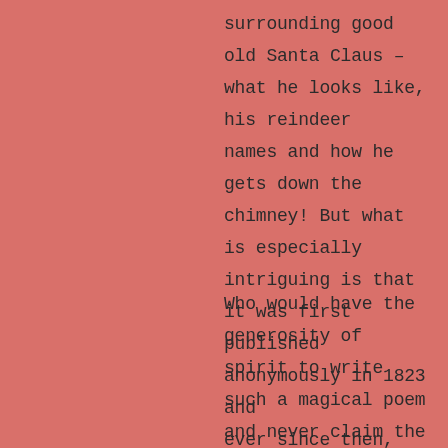surrounding good old Santa Claus – what he looks like, his reindeer names and how he gets down the chimney! But what is especially intriguing is that it was first published anonymously in 1823 and ever since then, the authorship has been somewhat questionable.
Who would have the generosity of spirit to write such a magical poem and never claim the kudos?  Well, in 1837 the poem was attributed to the American poet, Clement Clarke Moore (they just don't name 'em